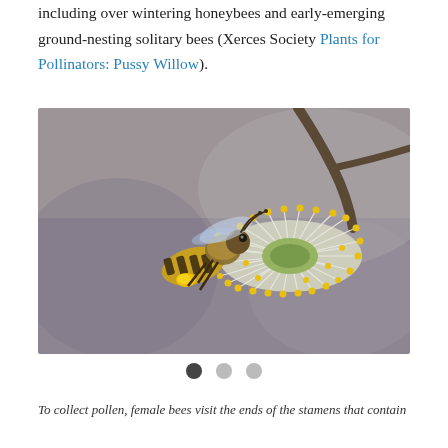including over wintering honeybees and early-emerging ground-nesting solitary bees (Xerces Society Plants for Pollinators: Pussy Willow).
[Figure (photo): Close-up macro photograph of a honeybee visiting a pussy willow flower catkin. The bee is shown in profile with yellow pollen baskets on its hind legs, hovering next to the fluffy white and yellow catkin against a soft gray-brown background.]
To collect pollen, female bees visit the ends of the stamens that contain